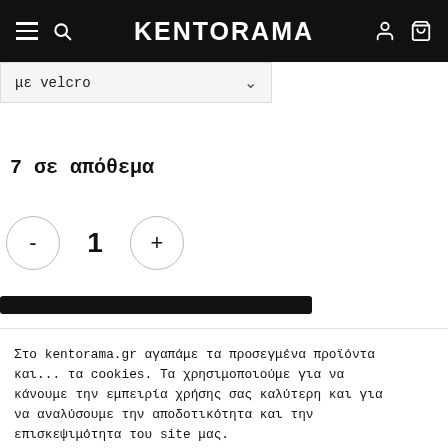KENTORAMA
με velcro
7 σε απόθεμα
- 1 +
Στο kentorama.gr αγαπάμε τα προσεγμένα προϊόντα και... τα cookies. Τα χρησιμοποιούμε για να κάνουμε την εμπειρία χρήσης σας καλύτερη και για να αναλύσουμε την αποδοτικότητα και την επισκεψιμότητα του site μας.
Ρυθμίσεις
Αποδοχή όλων